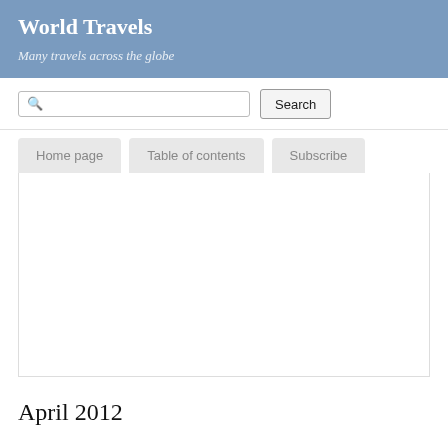World Travels
Many travels across the globe
Search
Home page
Table of contents
Subscribe
April 2012